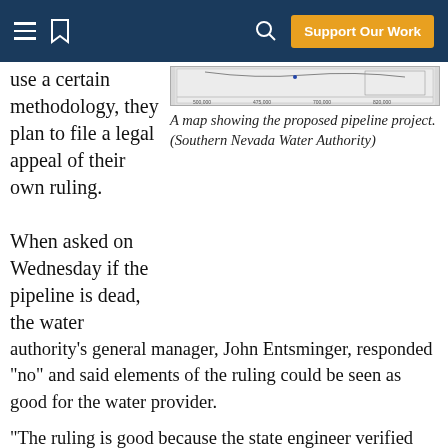Support Our Work
use a certain methodology, they plan to file a legal appeal of their own ruling.
[Figure (map): A map showing the proposed pipeline project area with coordinate labels along the bottom axis.]
A map showing the proposed pipeline project. (Southern Nevada Water Authority)
When asked on Wednesday if the pipeline is dead, the water authority’s general manager, John Entsminger, responded “no” and said elements of the ruling could be seen as good for the water provider.
“The ruling is good because the state engineer verified that the water is available,” he said, noting that the state’s